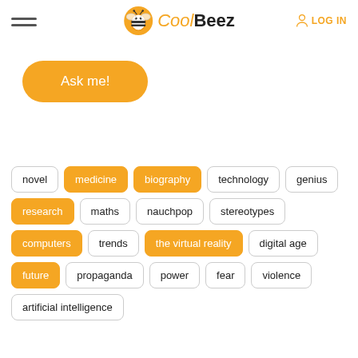[Figure (logo): CoolBeez logo with bee icon, stylized text Cool in italic orange and Beez in bold black]
LOG IN
Ask me!
novel
medicine
biography
technology
genius
research
maths
nauchpop
stereotypes
computers
trends
the virtual reality
digital age
future
propaganda
power
fear
violence
artificial intelligence